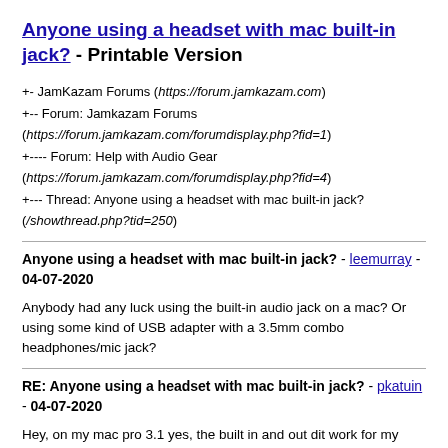Anyone using a headset with mac built-in jack? - Printable Version
+- JamKazam Forums (https://forum.jamkazam.com)
+-- Forum: Jamkazam Forums (https://forum.jamkazam.com/forumdisplay.php?fid=1)
+---- Forum: Help with Audio Gear (https://forum.jamkazam.com/forumdisplay.php?fid=4)
+--- Thread: Anyone using a headset with mac built-in jack? (/showthread.php?tid=250)
Anyone using a headset with mac built-in jack? - leemurray - 04-07-2020
Anybody had any luck using the built-in audio jack on a mac? Or using some kind of USB adapter with a 3.5mm combo headphones/mic jack?
RE: Anyone using a headset with mac built-in jack? - pkatuin - 04-07-2020
Hey, on my mac pro 3.1 yes, the built in and out dit work for my with an latency of 4.9ms. Yet have to try it on my macbook from 2008.